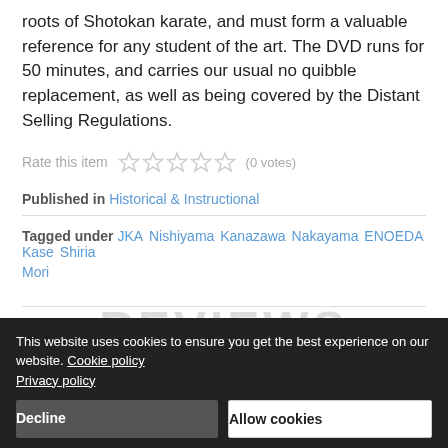roots of Shotokan karate, and must form a valuable reference for any student of the art. The DVD runs for 50 minutes, and carries our usual no quibble replacement, as well as being covered by the Distant Selling Regulations.
Rate this item (0 votes)
Published in Historical & Instructional
Tagged under JKA  Nishiyama  Kanazawa  Nakayama  ENOEDA  Kase  Shiria  Mori
back to top
This website uses cookies to ensure you get the best experience on our website. Cookie policy Privacy policy
REVIEWS
Decline
Allow cookies